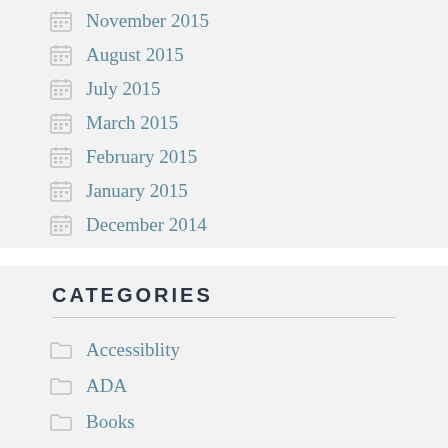November 2015
August 2015
July 2015
March 2015
February 2015
January 2015
December 2014
CATEGORIES
Accessiblity
ADA
Books
Design